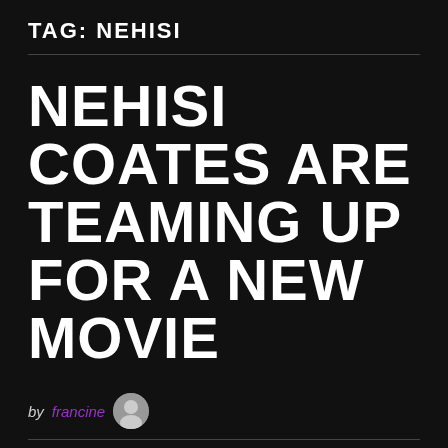TAG: NEHISI
NEHISI COATES ARE TEAMING UP FOR A NEW MOVIE
by francine
Updated: February 25, 2018
Are you gearing up for one more evening in front of the tv together with your associate? WEBSITE POSITIONING: MOVIE